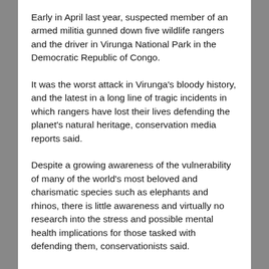Early in April last year, suspected member of an armed militia gunned down five wildlife rangers and the driver in Virunga National Park in the Democratic Republic of Congo.
It was the worst attack in Virunga's bloody history, and the latest in a long line of tragic incidents in which rangers have lost their lives defending the planet's natural heritage, conservation media reports said.
Despite a growing awareness of the vulnerability of many of the world's most beloved and charismatic species such as elephants and rhinos, there is little awareness and virtually no research into the stress and possible mental health implications for those tasked with defending them, conservationists said.
“We have got to take care of the people that make a difference,” said Johan Jooste, head of anti-poaching forces at South Africa National Parks (SANParks).